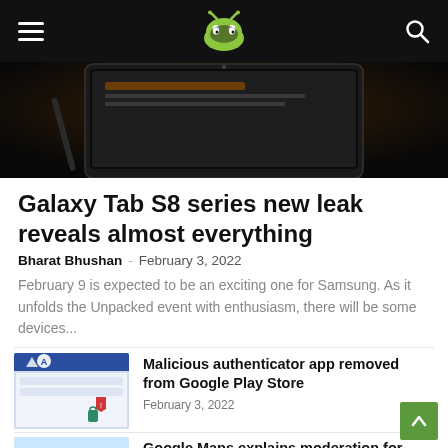PiunikaWeb — navigation bar with hamburger menu, logo, and search icon
[Figure (photo): Hero image showing a Samsung Galaxy Tab device on a dark background]
Galaxy Tab S8 series new leak reveals almost everything
Bharat Bhushan · February 3, 2022
February 9 is expected to be an exciting one for Samsung. As it unfolds the Unpacked event with enthusiasm, there will be some devices...
[Figure (screenshot): Thumbnail showing authenticator app interface with blue and red shield icons]
Malicious authenticator app removed from Google Play Store
February 3, 2022
[Figure (illustration): Thumbnail showing Google Maps style illustration with buildings and a burger icon]
Google Maps explains moderation for reviews on platform
February 3, 2022